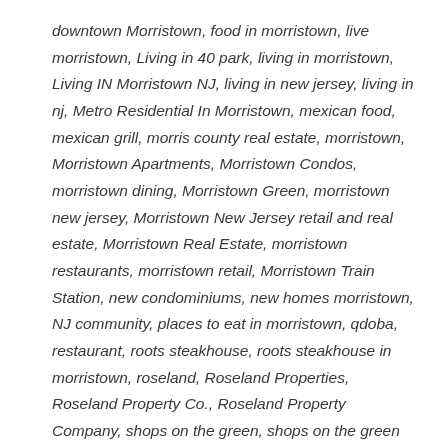downtown Morristown, food in morristown, live morristown, Living in 40 park, living in morristown, Living IN Morristown NJ, living in new jersey, living in nj, Metro Residential In Morristown, mexican food, mexican grill, morris county real estate, morristown, Morristown Apartments, Morristown Condos, morristown dining, Morristown Green, morristown new jersey, Morristown New Jersey retail and real estate, Morristown Real Estate, morristown restaurants, morristown retail, Morristown Train Station, new condominiums, new homes morristown, NJ community, places to eat in morristown, qdoba, restaurant, roots steakhouse, roots steakhouse in morristown, roseland, Roseland Properties, Roseland Property Co., Roseland Property Company, shops on the green, shops on the green Morristown, starbucks, starbucks coffee, starbucks coffee in morristown nj, starbucks in morristown, starbucks morristown, starbucks returning to morristown, steakhouse, the shops on the green, things to do in morristown, Young professionals in Morristown, young professionals in morristown nj, young professionals in new jersey, young